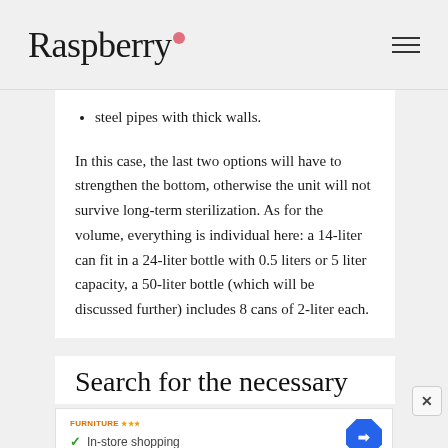Raspberry
steel pipes with thick walls.
In this case, the last two options will have to strengthen the bottom, otherwise the unit will not survive long-term sterilization. As for the volume, everything is individual here: a 14-liter can fit in a 24-liter bottle with 0.5 liters or 5 liter capacity, a 50-liter bottle (which will be discussed further) includes 8 cans of 2-liter each.
Search for the necessary
[Figure (infographic): Advertisement banner for Furniture store showing in-store shopping, in-store pickup, and delivery options with a navigation/direction icon.]